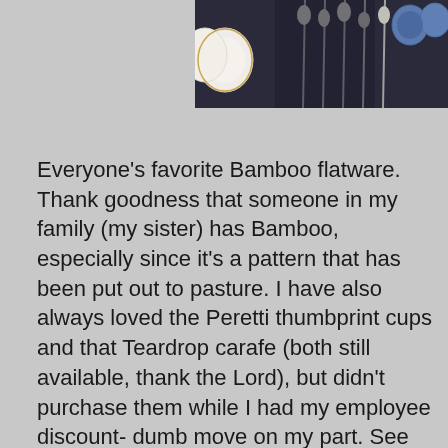[Figure (photo): Photo of flatware/silverware hanging and plates, including spoons and cups on display, partially visible at top of page]
Everyone's favorite Bamboo flatware. Thank goodness that someone in my family (my sister) has Bamboo, especially since it's a pattern that has been put out to pasture. I have also always loved the Peretti thumbprint cups and that Teardrop carafe (both still available, thank the Lord), but didn't purchase them while I had my employee discount- dumb move on my part. See those monkey candlesticks? I never knew we sold those until